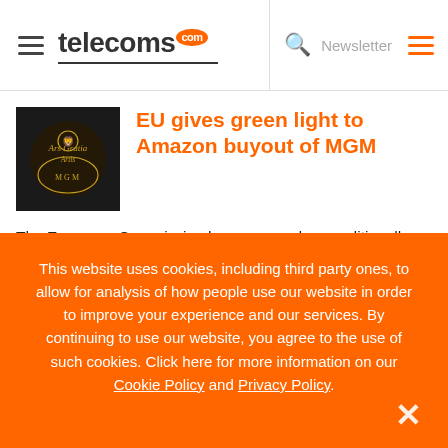telecoms.com
EU gives green light to Amazon buyout of MGM
The European Commission has approved unconditionally Amazon’s acquisition of MGM, concluding it ‘would raise no competition concerns in the European Economic Area’.
This website uses cookies, including third party ones, to allow for analysis of how people use our website in order to improve your experience and our services. By continuing to use our website, you agree to the use of such cookies. Click here for more information on our Cookie Policy and Privacy Policy.